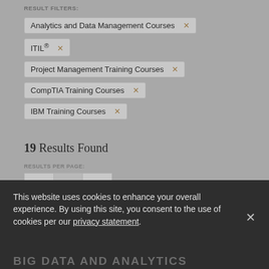RESULT FILTERS:
Analytics and Data Management Courses ×
ITIL® ×
Project Management Training Courses ×
CompTIA Training Courses ×
IBM Training Courses ×
19 Results Found
RESULTS PER PAGE:
10  40  80
SORT BY:
This website uses cookies to enhance your overall experience. By using this site, you consent to the use of cookies per our privacy statement.
BIG DATA AND ANALYTICS